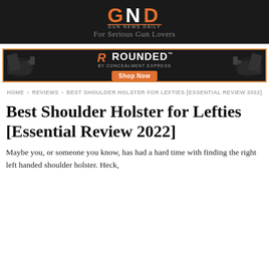GUN NEWS DAILY — For Serious Gun Lovers
[Figure (logo): Gun News Daily logo with GND monogram and tagline 'For Serious Gun Lovers']
[Figure (infographic): Rounded by Concealment Express advertisement banner with two black holsters on either side and orange 'Shop Now' button]
HOME › REVIEWS › BEST SHOULDER HOLSTER FOR LEFTIES [ESSENTIAL REVIEW 2022]
Best Shoulder Holster for Lefties [Essential Review 2022]
Maybe you, or someone you know, has had a hard time with finding the right left handed shoulder holster. Heck,